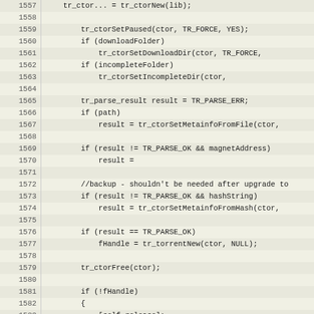[Figure (screenshot): Source code listing showing lines 1557-1583 of an Objective-C/C file with line numbers on the left and code on the right. Background is a tan/beige alternating row color scheme typical of code editors.]